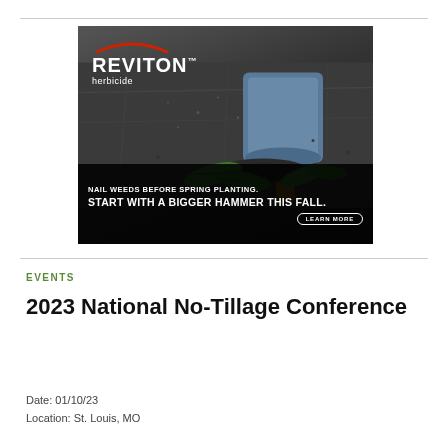[Figure (illustration): Advertisement for REVITON herbicide showing a large hammer crushing weeds on a concrete surface. Text reads 'NAIL WEEDS BEFORE SPRING PLANTING. START WITH A BIGGER HAMMER THIS FALL.' with a LEARN MORE button.]
EVENTS
2023 National No-Tillage Conference
Date: 01/10/23
Location: St. Louis, MO